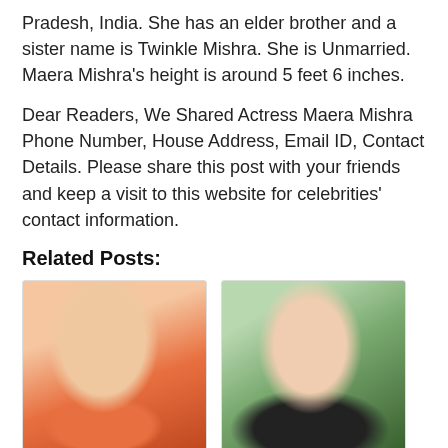Pradesh, India. She has an elder brother and a sister name is Twinkle Mishra. She is Unmarried. Maera Mishra's height is around 5 feet 6 inches.
Dear Readers, We Shared Actress Maera Mishra Phone Number, House Address, Email ID, Contact Details. Please share this post with your friends and keep a visit to this website for celebrities' contact information.
Related Posts:
[Figure (photo): Photo of Divyanka Tripathi - Indian actress wearing red outfit with gold earrings]
Divyanka Tripathi Phone Number,
[Figure (photo): Photo of Sonarika Bhadoria - Indian actress with curly hair and silver earrings]
Sonarika Bhadoria Phone Number,